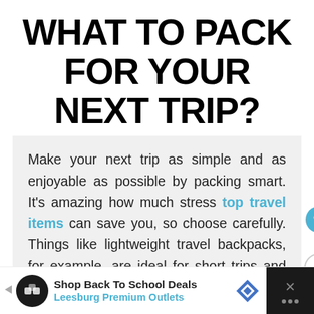WHAT TO PACK FOR YOUR NEXT TRIP?
Make your next trip as simple and as enjoyable as possible by packing smart. It's amazing how much stress top travel items can save you, so choose carefully. Things like lightweight travel backpacks, for example, are ideal for short trips and allow you to move around with ease, and a passport holder will make sure you keep your documents safe at all times.
[Figure (other): Advertisement bar: Shop Back To School Deals - Leesburg Premium Outlets with logos and navigation icons]